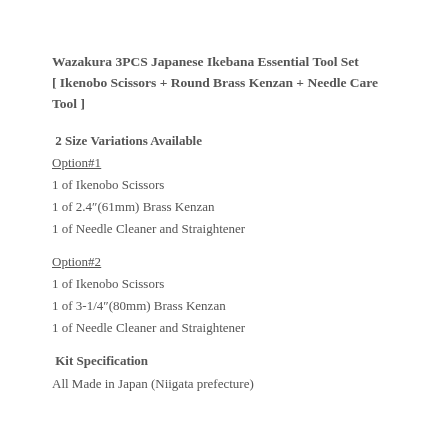Wazakura 3PCS Japanese Ikebana Essential Tool Set [ Ikenobo Scissors + Round Brass Kenzan + Needle Care Tool ]
2 Size Variations Available
Option#1
1 of Ikenobo Scissors
1 of 2.4″(61mm) Brass Kenzan
1 of Needle Cleaner and Straightener
Option#2
1 of Ikenobo Scissors
1 of 3-1/4″(80mm) Brass Kenzan
1 of Needle Cleaner and Straightener
Kit Specification
All Made in Japan (Niigata prefecture)